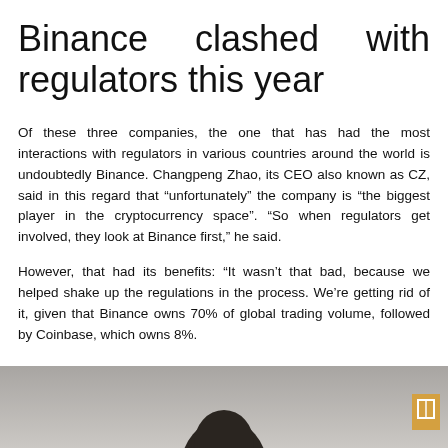Binance clashed with regulators this year
Of these three companies, the one that has had the most interactions with regulators in various countries around the world is undoubtedly Binance. Changpeng Zhao, its CEO also known as CZ, said in this regard that “unfortunately” the company is “the biggest player in the cryptocurrency space”. “So when regulators get involved, they look at Binance first,” he said.
However, that had its benefits: “It wasn’t that bad, because we helped shake up the regulations in the process. We’re getting rid of it, given that Binance owns 70% of global trading volume, followed by Coinbase, which owns 8%.
[Figure (photo): A person's head and shoulders visible at the bottom of the page, partially cropped. Background is grey/beige. A gold/yellow bookmark icon appears in the bottom right corner.]